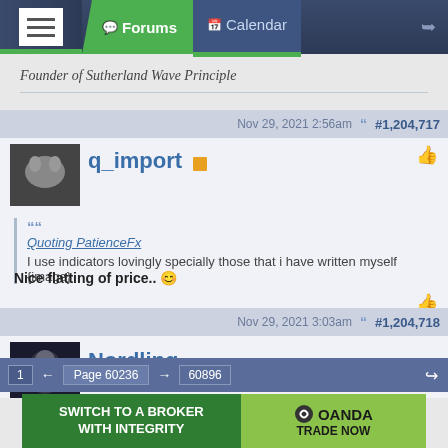Forums | Calendar
Founder of Sutherland Wave Principle
Nov 29, 2021 2:56am  #1,204,717
q_import
Quoting PatienceFx
I use indicators lovingly specially those that i have written myself {image}
Nice flatting of price.. 😊
Nov 29, 2021 3:03am  #1,204,718
Nordling
1  ← Page 60236 → 60896
[Figure (other): OANDA broker advertisement: SWITCH TO A BROKER WITH INTEGRITY / OANDA TRADE NOW]